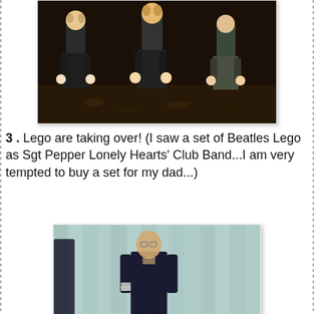[Figure (photo): Lego minifigures photographed in a dark setting, appearing to represent band members]
3 .  Lego are taking over! (I saw a set of Beatles Lego as Sgt Pepper Lonely Hearts' Club Band...I am very tempted to buy a set for my dad...)
[Figure (photo): A young person wearing a dark outfit standing on a stage with a light-colored curtain backdrop]